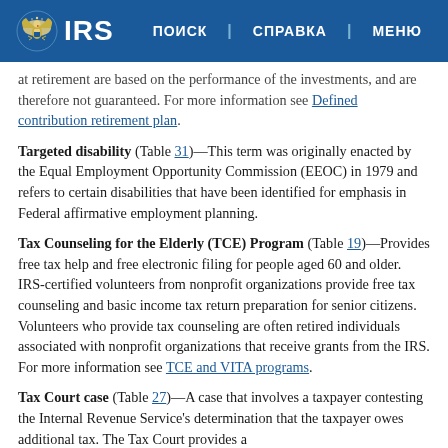IRS | ПОИСК | СПРАВКА | МЕНЮ
at retirement are based on the performance of the investments, and are therefore not guaranteed. For more information see Defined contribution retirement plan.
Targeted disability (Table 31)—This term was originally enacted by the Equal Employment Opportunity Commission (EEOC) in 1979 and refers to certain disabilities that have been identified for emphasis in Federal affirmative employment planning.
Tax Counseling for the Elderly (TCE) Program (Table 19)—Provides free tax help and free electronic filing for people aged 60 and older. IRS-certified volunteers from nonprofit organizations provide free tax counseling and basic income tax return preparation for senior citizens. Volunteers who provide tax counseling are often retired individuals associated with nonprofit organizations that receive grants from the IRS. For more information see TCE and VITA programs.
Tax Court case (Table 27)—A case that involves a taxpayer contesting the Internal Revenue Service's determination that the taxpayer owes additional tax. The Tax Court provides a